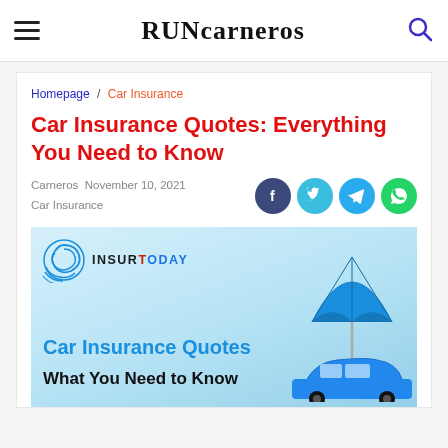RUNcarneros
Homepage / Car Insurance
Car Insurance Quotes: Everything You Need to Know
Carneros  November 10, 2021
Car Insurance
[Figure (illustration): InsurToday car insurance promotional image showing a blue car with a large blue umbrella, with text 'Car Insurance Quotes – What You Need to Know']